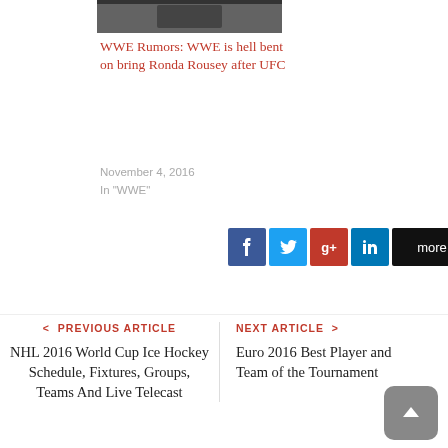[Figure (photo): A cropped photo of wrestlers/athletes at the top of the page]
WWE Rumors: WWE is hell bent on bring Ronda Rousey after UFC
November 4, 2016
In "WWE"
[Figure (infographic): Social share buttons: Facebook, Twitter, Google+, LinkedIn, more]
< PREVIOUS ARTICLE
NHL 2016 World Cup Ice Hockey Schedule, Fixtures, Groups, Teams And Live Telecast
NEXT ARTICLE >
Euro 2016 Best Player and Team of the Tournament